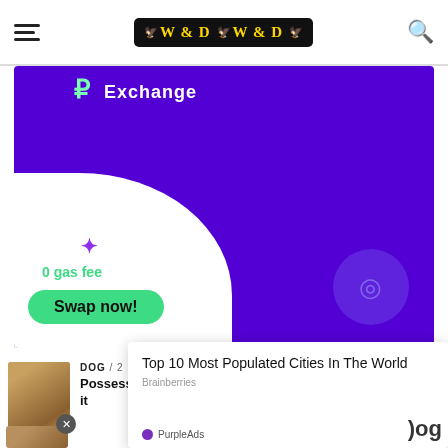W & D (logo with navigation hamburger and search icon)
[Figure (screenshot): Purple cryptocurrency exchange advertisement banner featuring 'Exchange' text, '0 gas fee' label, and a green 'Swap now!' button with wave design elements]
DOG / 2 months ago
Possessive Aggression state in dogs and how to control it
[Figure (screenshot): Overlay advertisement popup showing 'Top 10 Most Populated Cities In The World' from Brainberries, with PurpleAds branding]
[Figure (photo): Thumbnail photo of a dog, partially obscured by overlay ad]